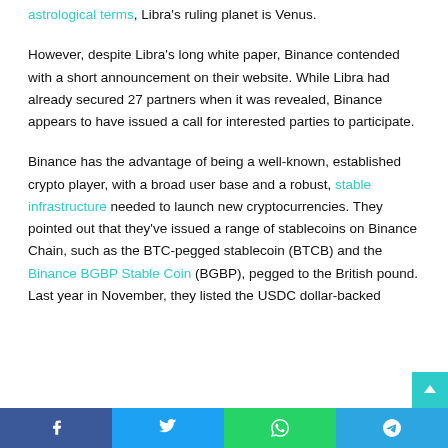astrological terms, Libra's ruling planet is Venus.
However, despite Libra's long white paper, Binance contended with a short announcement on their website. While Libra had already secured 27 partners when it was revealed, Binance appears to have issued a call for interested parties to participate.
Binance has the advantage of being a well-known, established crypto player, with a broad user base and a robust, stable infrastructure needed to launch new cryptocurrencies. They pointed out that they've issued a range of stablecoins on Binance Chain, such as the BTC-pegged stablecoin (BTCB) and the Binance BGBP Stable Coin (BGBP), pegged to the British pound. Last year in November, they listed the USDC dollar-backed